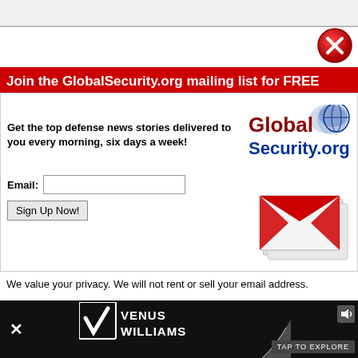[Figure (screenshot): Browser top bar with grey line]
[Figure (illustration): Red circle with white X close button in top right]
Join the GlobalSecurity.org mailing list for FREE
Get the top defense news stories delivered to you every morning, six days a week!
[Figure (logo): GlobalSecurity.org logo with globe icon]
Email: [input field] Sign Up Now! [button]
[Figure (illustration): Red envelope/mail icon graphic]
We value your privacy. We will not rent or sell your email address.
No thanks, take me to GlobalSecurity.org
[Figure (illustration): Bottom advertisement banner with Venus Williams logo and TAP TO EXPLORE button]